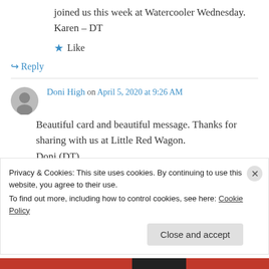joined us this week at Watercooler Wednesday. Karen – DT
★ Like
↪ Reply
Doni High on April 5, 2020 at 9:26 AM
Beautiful card and beautiful message. Thanks for sharing with us at Little Red Wagon. Doni (DT)
Privacy & Cookies: This site uses cookies. By continuing to use this website, you agree to their use. To find out more, including how to control cookies, see here: Cookie Policy
Close and accept